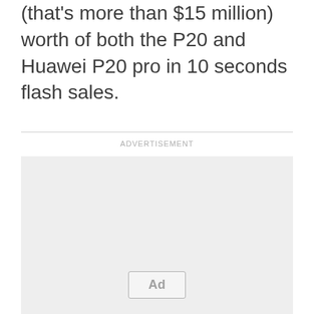(that's more than $15 million) worth of both the P20 and Huawei P20 pro in 10 seconds flash sales.
[Figure (other): Advertisement placeholder box with 'ADVERTISEMENT' label above a horizontal rule, and a grey rectangle containing an 'Ad' button at the bottom center.]